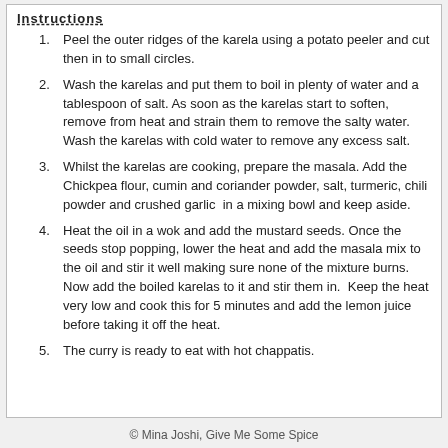Peel the outer ridges of the karela using a potato peeler and cut then in to small circles.
Wash the karelas and put them to boil in plenty of water and a tablespoon of salt. As soon as the karelas start to soften, remove from heat and strain them to remove the salty water. Wash the karelas with cold water to remove any excess salt.
Whilst the karelas are cooking, prepare the masala. Add the Chickpea flour, cumin and coriander powder, salt, turmeric, chili powder and crushed garlic in a mixing bowl and keep aside.
Heat the oil in a wok and add the mustard seeds. Once the seeds stop popping, lower the heat and add the masala mix to the oil and stir it well making sure none of the mixture burns. Now add the boiled karelas to it and stir them in. Keep the heat very low and cook this for 5 minutes and add the lemon juice before taking it off the heat.
The curry is ready to eat with hot chappatis.
© Mina Joshi, Give Me Some Spice